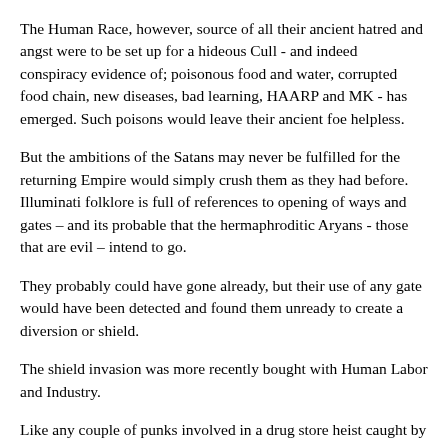The Human Race, however, source of all their ancient hatred and angst were to be set up for a hideous Cull - and indeed conspiracy evidence of; poisonous food and water, corrupted food chain, new diseases, bad learning, HAARP and MK - has emerged. Such poisons would leave their ancient foe helpless.
But the ambitions of the Satans may never be fulfilled for the returning Empire would simply crush them as they had before. Illuminati folklore is full of references to opening of ways and gates – and its probable that the hermaphroditic Aryans - those that are evil – intend to go.
They probably could have gone already, but their use of any gate would have been detected and found them unready to create a diversion or shield.
The shield invasion was more recently bought with Human Labor and Industry.
Like any couple of punks involved in a drug store heist caught by the police - they would naturally want to hold a gun to the shop keepers heads and demand a fast car etc.
They have some options however, and taking hostages is definitely